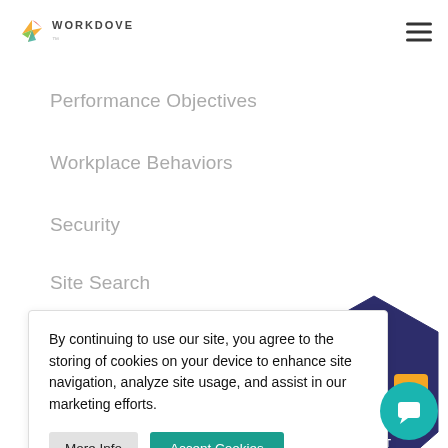[Figure (logo): WorkDove logo with hummingbird icon and WORKDOVE wordmark]
Coaching Guides
Whitepaper
Performance Objectives
Workplace Behaviors
Security
Site Search
By continuing to use our site, you agree to the storing of cookies on your device to enhance site navigation, analyze site usage, and assist in our marketing efforts.
More Info | Accept Cookies
[Figure (logo): Software Advice Most Recommended 2020 badge (hexagon shape, dark navy blue with orange text)]